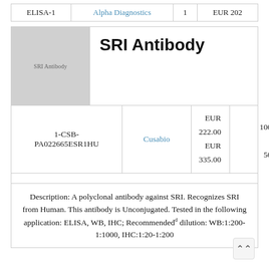| ELISA-1 | Alpha Diagnostics | 1 | EUR 202 |
[Figure (other): Grey placeholder image with text 'SRI Antibody']
SRI Antibody
| 1-CSB-PA022665ESR1HU | Cusabio | EUR 222.00
EUR 335.00 | 100ul
50ul |
Description: A polyclonal antibody against SRI. Recognizes SRI from Human. This antibody is Unconjugated. Tested in the following application: ELISA, WB, IHC; Recommended dilution: WB:1:200-1:1000, IHC:1:20-1:200